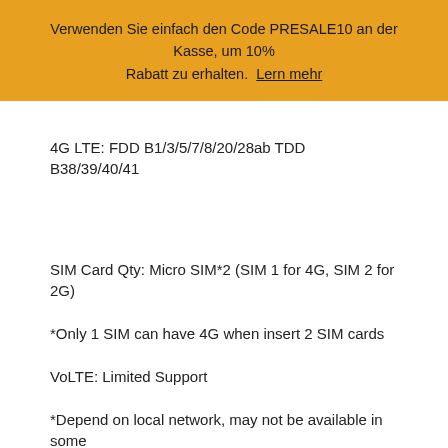Verwenden Sie einfach den Code PRESALE10 an der Kasse, um 10% Rabatt zu erhalten. Lern mehr
4G LTE: FDD B1/3/5/7/8/20/28ab TDD B38/39/40/41
SIM Card Qty: Micro SIM*2 (SIM 1 for 4G, SIM 2 for 2G)
*Only 1 SIM can have 4G when insert 2 SIM cards
VoLTE: Limited Support
*Depend on local network, may not be available in some countries